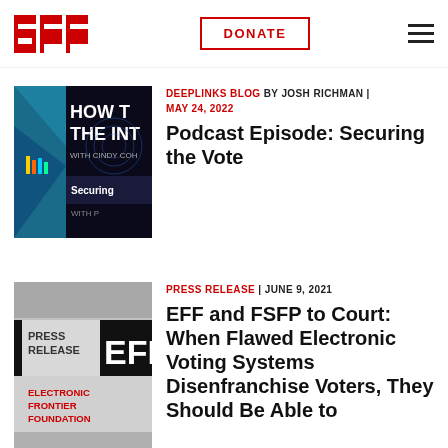RELATED UPDATES
[Figure (screenshot): EFF website header with EFF logo on left, DONATE button in center, and hamburger menu on right]
[Figure (photo): Podcast thumbnail: How to Fix the Internet with Cindy Cohn, Securing the Vote episode, dark background with abstract design]
DEEPLINKS BLOG BY JOSH RICHMAN | MAY 24, 2022
Podcast Episode: Securing the Vote
[Figure (photo): Press Release thumbnail with Electronic Frontier Foundation logo and EFF text on dark background]
PRESS RELEASE | JUNE 9, 2021
EFF and FSFP to Court: When Flawed Electronic Voting Systems Disenfranchise Voters, They Should Be Able to